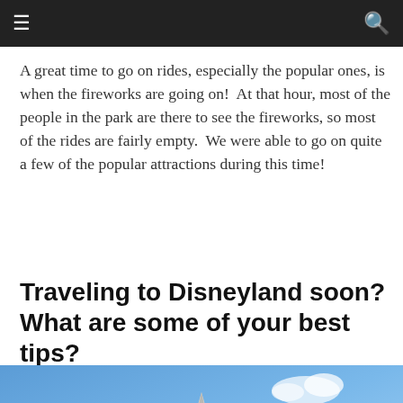≡  🔍
A great time to go on rides, especially the popular ones, is when the fireworks are going on!  At that hour, most of the people in the park are there to see the fireworks, so most of the rides are fairly empty.  We were able to go on quite a few of the popular attractions during this time!
Traveling to Disneyland soon? What are some of your best tips?
[Figure (photo): Photograph of a tower with a pointed spire against a blue sky with a small white cloud. The tower appears to be an ornate structure, possibly a minaret or castle turret, photographed from below at an angle.]